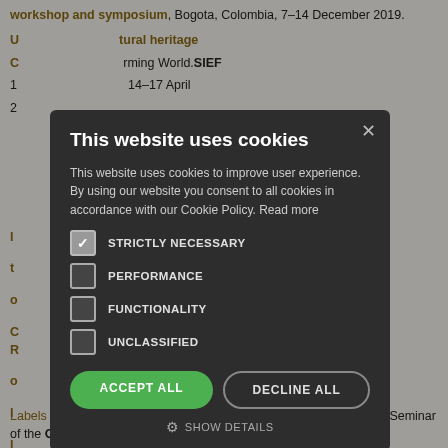workshop and symposium, Bogota, Colombia, 7–14 December 2019.
Uncertainty and Change in Intangible Cultural Heritage (ICH) in a Transforming World. SIEF 1... 14–17 April 2...
Initiating a Dialogue with the... Conference of the... Group on... February 2019.
Reinforcing Governmental... UNESCO... Intangible cultural heritage... Ius, 26 November...
Initiating a Dialogue with the... Osmose project at... on Cultural Heritage... 8.
Labels and Other Legal Mechanisms of Intangible Cultural Heritage. Seminar of the Osmose project, sponsored by the SIEF...
[Figure (screenshot): Cookie consent modal overlay on a webpage. The modal has a dark background (#2d2d2d) with title 'This website uses cookies', body text about cookie policy, checkboxes for STRICTLY NECESSARY (checked), PERFORMANCE, FUNCTIONALITY, UNCLASSIFIED, and buttons ACCEPT ALL (green) and DECLINE ALL (outlined), with SHOW DETAILS at the bottom.]